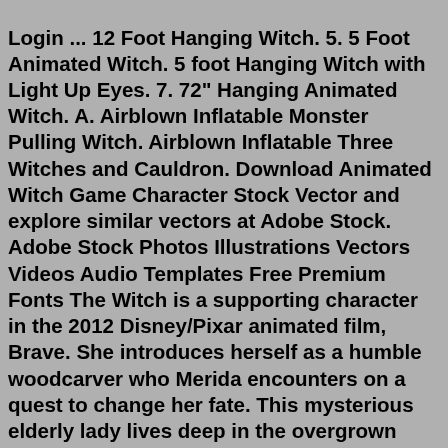Login ... 12 Foot Hanging Witch. 5. 5 Foot Animated Witch. 5 foot Hanging Witch with Light Up Eyes. 7. 72" Hanging Animated Witch. A. Airblown Inflatable Monster Pulling Witch. Airblown Inflatable Three Witches and Cauldron. Download Animated Witch Game Character Stock Vector and explore similar vectors at Adobe Stock. Adobe Stock Photos Illustrations Vectors Videos Audio Templates Free Premium Fonts The Witch is a supporting character in the 2012 Disney/Pixar animated film, Brave. She introduces herself as a humble woodcarver who Merida encounters on a quest to change her fate. This mysterious elderly lady lives deep in the overgrown Highland forest where she lives in a cottage with her talking pet crow. After coming across many visitors who were unsatisfied with her ways of magic, she ... Find Cartoon witch stock images in HD and millions of other royalty-free stock photos, illustrations and vectors in the Shutterstock collection. Thousands of new, high-quality pictures added every day. The Animated Life Size Witch with Flaming Cauldron is a